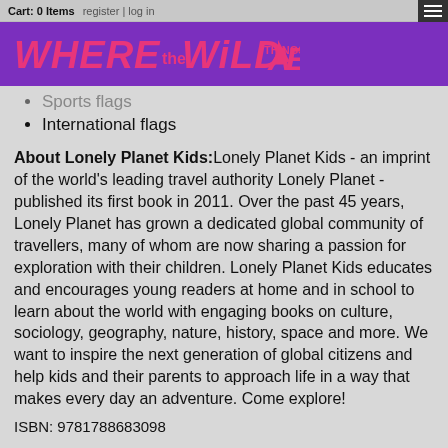Cart: 0 Items   register | log in
[Figure (logo): Where the Wild Things Are logo in pink/magenta lettering on purple background]
Sports flags
International flags
About Lonely Planet Kids: Lonely Planet Kids - an imprint of the world's leading travel authority Lonely Planet - published its first book in 2011. Over the past 45 years, Lonely Planet has grown a dedicated global community of travellers, many of whom are now sharing a passion for exploration with their children. Lonely Planet Kids educates and encourages young readers at home and in school to learn about the world with engaging books on culture, sociology, geography, nature, history, space and more. We want to inspire the next generation of global citizens and help kids and their parents to approach life in a way that makes every day an adventure. Come explore!
ISBN: 9781788683098